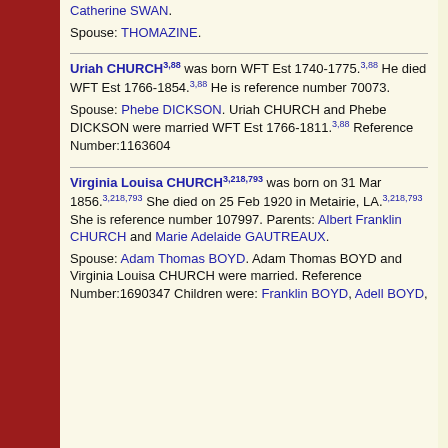Catherine SWAN.
Spouse: THOMAZINE.
Uriah CHURCH3,88 was born WFT Est 1740-1775.3,88 He died WFT Est 1766-1854.3,88 He is reference number 70073.
Spouse: Phebe DICKSON. Uriah CHURCH and Phebe DICKSON were married WFT Est 1766-1811.3,88 Reference Number:1163604
Virginia Louisa CHURCH3,218,793 was born on 31 Mar 1856.3,218,793 She died on 25 Feb 1920 in Metairie, LA.3,218,793 She is reference number 107997. Parents: Albert Franklin CHURCH and Marie Adelaide GAUTREAUX.
Spouse: Adam Thomas BOYD. Adam Thomas BOYD and Virginia Louisa CHURCH were married. Reference Number:1690347 Children were: Franklin BOYD, Adell BOYD,